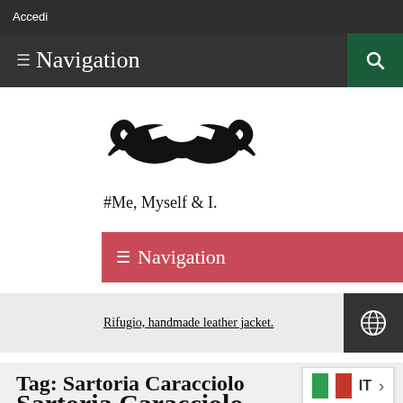Accedi
≡ Navigation
[Figure (logo): Black mustache logo icon]
#Me, Myself & I.
≡ Navigation
Rifugio, handmade leather jacket.
Tag: Sartoria Caracciolo
Sartoria Caracciolo
IT